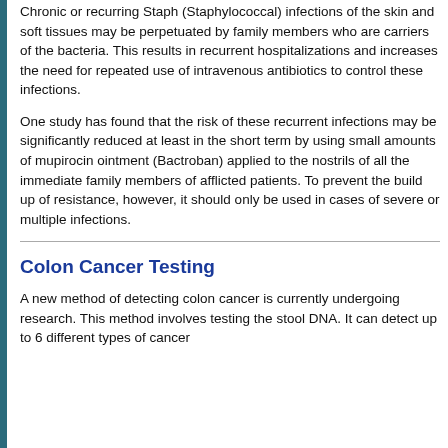Chronic or recurring Staph (Staphylococcal) infections of the skin and soft tissues may be perpetuated by family members who are carriers of the bacteria. This results in recurrent hospitalizations and increases the need for repeated use of intravenous antibiotics to control these infections.
One study has found that the risk of these recurrent infections may be significantly reduced at least in the short term by using small amounts of mupirocin ointment (Bactroban) applied to the nostrils of all the immediate family members of afflicted patients. To prevent the build up of resistance, however, it should only be used in cases of severe or multiple infections.
Colon Cancer Testing
A new method of detecting colon cancer is currently undergoing research. This method involves testing the stool DNA. It can detect up to 6 different types of cancer...